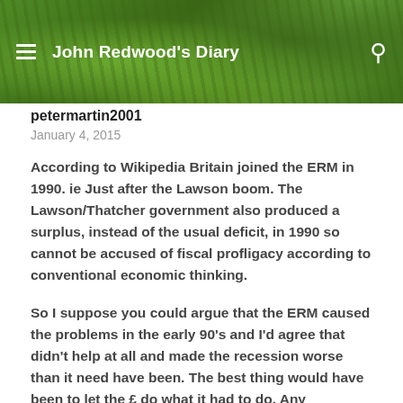John Redwood's Diary
petermartin2001
January 4, 2015
According to Wikipedia Britain joined the ERM in 1990. ie Just after the Lawson boom. The Lawson/Thatcher government also produced a surplus, instead of the usual deficit, in 1990 so cannot be accused of fiscal profligacy according to conventional economic thinking.
So I suppose you could argue that the ERM caused the problems in the early 90's and I'd agree that didn't help at all and made the recession worse than it need have been. The best thing would have been to let the £ do what it had to do. Any intervention by government should have been merely a smoothing operation to prevent sudden jumps and thereby